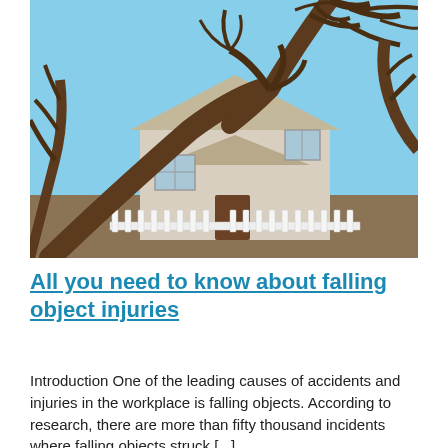[Figure (photo): A large uprooted tree fallen onto the roof of a small white house with a white picket fence in the front yard. Sky is blue and other bare trees are visible in the background.]
All you need to know about falling object injuries
Introduction One of the leading causes of accidents and injuries in the workplace is falling objects. According to research, there are more than fifty thousand incidents where falling objects struck [...]